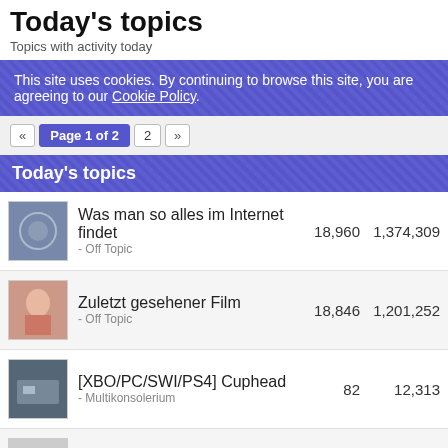Today's topics
Topics with activity today
This site uses cookies. By continuing to browse this site, you are agreeing to our Cookie Policy.
« Page 1 of 2  2  »
Today's topics
|  | Topic | Replies | Views |
| --- | --- | --- | --- |
| [img] | Was man so alles im Internet findet - Off Topic | 18,960 | 1,374,309 |
| [img] | Zuletzt gesehener Film - Off Topic | 18,846 | 1,201,252 |
| [img] | [XBO/PC/SWI/PS4] Cuphead - Multikonsolerium | 82 | 12,313 |
| [img] | CITs epische Suchliste - Suchen | 11 | 1,922 |
| [img] | [MD] Real Bout Fatal Fury Special - SEGA | 36 | 2,268 |